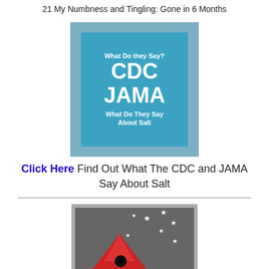21 My Numbness and Tingling: Gone in 6 Months
[Figure (illustration): Blue box graphic with text: What Do they Say? CDC JAMA What Do They Say About Salt]
Click Here Find Out What The CDC and JAMA Say About Salt
[Figure (illustration): Rocket graphic with stars on grey background]